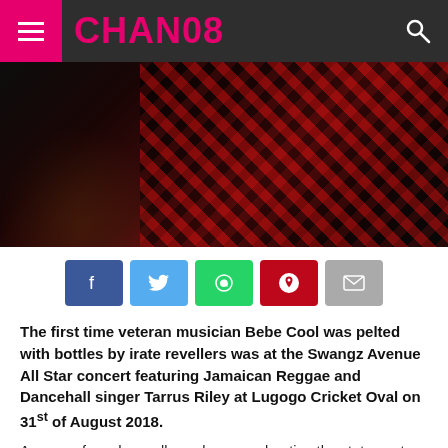CHAN08
[Figure (photo): Close-up photo of a person wearing a red and black plaid shirt with gold rings on their fingers, performing on stage in a dark setting.]
[Figure (infographic): Social share buttons row: Facebook (blue), Twitter (light blue), WhatsApp (green), Pinterest (red), Email (grey)]
The first time veteran musician Bebe Cool was pelted with bottles by irate revellers was at the Swangz Avenue All Star concert featuring Jamaican Reggae and Dancehall singer Tarrus Riley at Lugogo Cricket Oval on 31st of August 2018.
A group of rowdy revellers who were shouting the statement 'People Power' on top of their lungs didn't wait ...